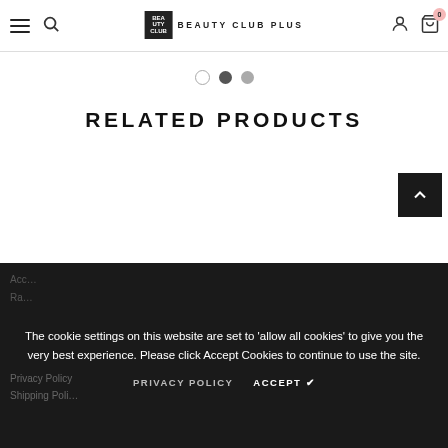BEAUTY CLUB PLUS
[Figure (other): Pagination dots: three dots indicating page navigation, with the second dot active]
RELATED PRODUCTS
[Figure (other): Scroll-to-top button with upward chevron arrow on dark background]
The cookie settings on this website are set to 'allow all cookies' to give you the very best experience. Please click Accept Cookies to continue to use the site.
PRIVACY POLICY    ACCEPT ✔